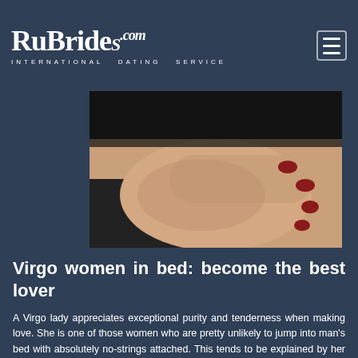RuBrides.com INTERNATIONAL DATING SERVICE
[Figure (photo): Close-up photo of a woman's hand with red painted fingernails resting on skin, dark background]
Virgo women in bed: become the best lover
A Virgo lady appreciates exceptional purity and tenderness when making love. She is one of those women who are pretty unlikely to jump into man's bed with absolutely no-strings attached. This tends to be explained by her cautious nature that will assure every important detail is in place before she can make love to anyone.
It is to claim that both her and her romantic partner must have a deep bonding even if they're not